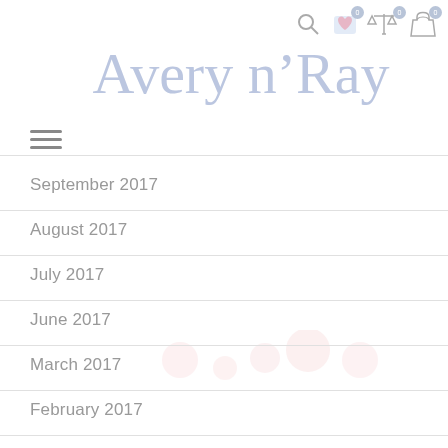Avery n' Ray — website header with logo and navigation icons
[Figure (logo): Avery n' Ray cursive logo in light blue/periwinkle color]
September 2017
August 2017
July 2017
June 2017
March 2017
February 2017
January 2017